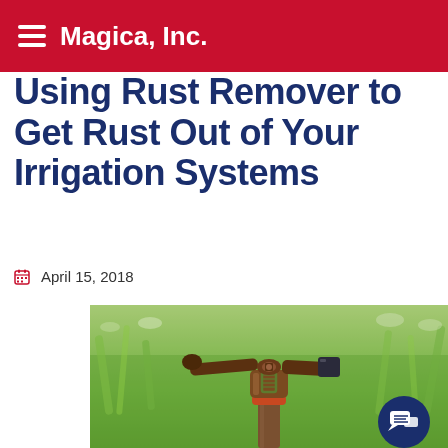Magica, Inc.
Using Rust Remover to Get Rust Out of Your Irrigation Systems
April 15, 2018
[Figure (photo): A close-up photo of a metal irrigation sprinkler head mounted on a pipe, with blurred green grass in the background. A dark navy blue circular chat/message icon is visible in the lower right corner of the image.]